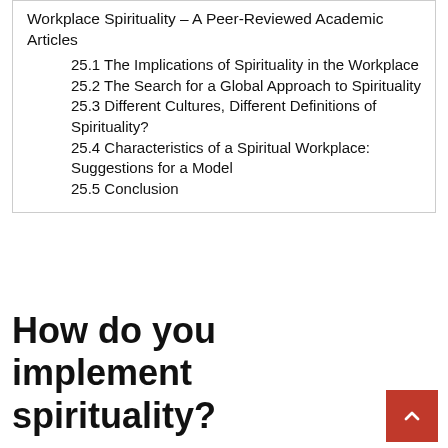Workplace Spirituality – A Peer-Reviewed Academic Articles
25.1 The Implications of Spirituality in the Workplace
25.2 The Search for a Global Approach to Spirituality
25.3 Different Cultures, Different Definitions of Spirituality?
25.4 Characteristics of a Spiritual Workplace: Suggestions for a Model
25.5 Conclusion
How do you implement spirituality?